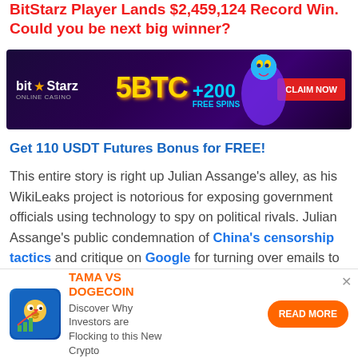BitStarz Player Lands $2,459,124 Record Win. Could you be next big winner?
[Figure (infographic): BitStarz Online Casino advertisement banner with dark purple background, showing '5BTC +200 FREE SPINS' text in gold and blue, a genie character, and a red 'CLAIM NOW' button]
Get 110 USDT Futures Bonus for FREE!
This entire story is right up Julian Assange's alley, as his WikiLeaks project is notorious for exposing government officials using technology to spy on political rivals. Julian Assange's public condemnation of China's censorship tactics and critique on Google for turning over emails to US law
[Figure (infographic): TAMA VS DOGECOIN advertisement banner with a dog/crypto icon, orange title text 'TAMA VS DOGECOIN', description 'Discover Why Investors are Flocking to this New Crypto', and orange 'READ MORE' button]